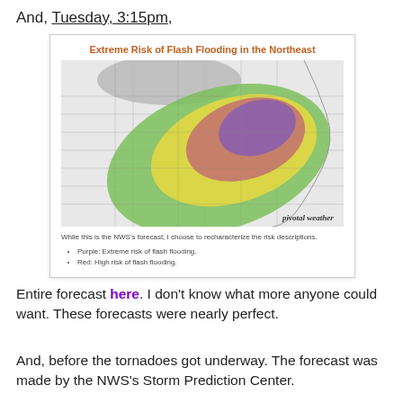And, Tuesday, 3:15pm,
[Figure (map): Weather risk map of the northeastern United States showing colored risk zones for extreme flash flooding. Green outer zone, yellow zone, red/mauve zone, purple inner zone indicating extreme risk. Title: 'Extreme Risk of Flash Flooding in the Northeast'. Labeled 'pivotal weather'. Caption: 'While this is the NWS's forecast, I choose to recharacterize the risk descriptions.' List: Purple: Extreme risk of flash flooding. Red: High risk of flash flooding.]
Entire forecast here. I don't know what more anyone could want. These forecasts were nearly perfect.
And, before the tornadoes got underway. The forecast was made by the NWS's Storm Prediction Center.